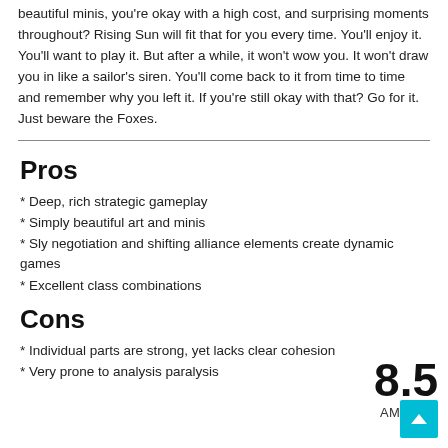beautiful minis, you're okay with a high cost, and surprising moments throughout? Rising Sun will fit that for you every time. You'll enjoy it. You'll want to play it. But after a while, it won't wow you. It won't draw you in like a sailor's siren. You'll come back to it from time to time and remember why you left it. If you're still okay with that? Go for it. Just beware the Foxes.
Pros
* Deep, rich strategic gameplay
* Simply beautiful art and minis
* Sly negotiation and shifting alliance elements create dynamic games
* Excellent class combinations
Cons
* Individual parts are strong, yet lacks clear cohesion
* Very prone to analysis paralysis